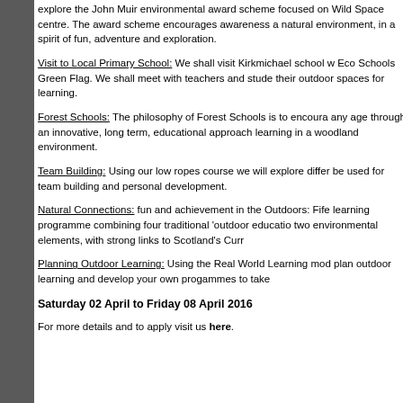explore the John Muir environmental award scheme focused on Wild Space centre. The award scheme encourages awareness and the natural environment, in a spirit of fun, adventure and exploration.
Visit to Local Primary School: We shall visit Kirkmichael school which holds the Eco Schools Green Flag. We shall meet with teachers and students and explore their outdoor spaces for learning.
Forest Schools: The philosophy of Forest Schools is to encourage learners of any age through an innovative, long term, educational approach to outdoor learning in a woodland environment.
Team Building: Using our low ropes course we will explore different activities that can be used for team building and personal development.
Natural Connections: fun and achievement in the Outdoors: Fife's outdoor learning programme combining four traditional 'outdoor education' elements with two environmental elements, with strong links to Scotland's Curriculum.
Planning Outdoor Learning: Using the Real World Learning model we will plan outdoor learning and develop your own progammes to take back to school.
Saturday 02 April to Friday 08 April 2016
For more details and to apply visit us here.